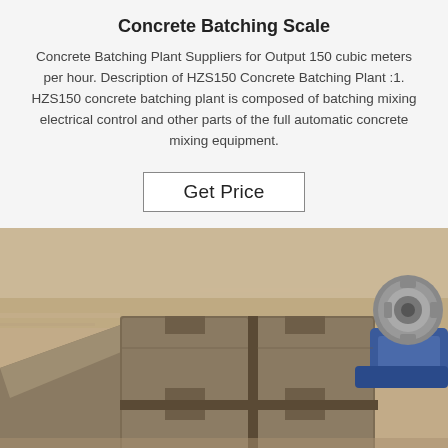Concrete Batching Scale
Concrete Batching Plant Suppliers for Output 150 cubic meters per hour. Description of HZS150 Concrete Batching Plant :1. HZS150 concrete batching plant is composed of batching mixing electrical control and other parts of the full automatic concrete mixing equipment.
Get Price
[Figure (photo): Close-up photograph of concrete batching scale components — grey concrete interlocking blocks/molds on a sandy floor, with a blue mechanical arm and metallic motor/gear assembly visible on the right side.]